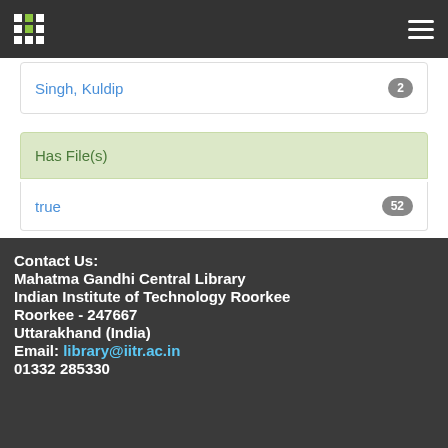Navigation bar with logo and hamburger menu
Singh, Kuldip — 2
Has File(s)
true — 52
Contact Us:
Mahatma Gandhi Central Library
Indian Institute of Technology Roorkee
Roorkee - 247667
Uttarakhand (India)
Email: library@iitr.ac.in
01332 285330